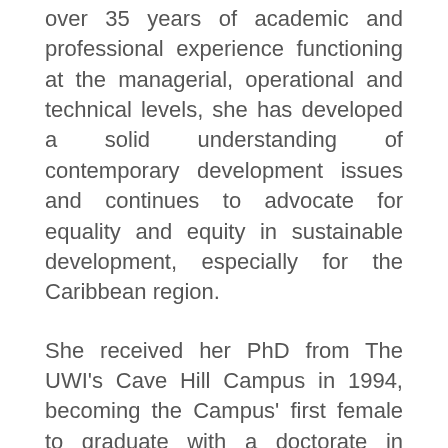over 35 years of academic and professional experience functioning at the managerial, operational and technical levels, she has developed a solid understanding of contemporary development issues and continues to advocate for equality and equity in sustainable development, especially for the Caribbean region.
She received her PhD from The UWI's Cave Hill Campus in 1994, becoming the Campus' first female to graduate with a doctorate in History. She also later lectured at the Campus. In another first, she was appointed as the foremost female Secretary General of the